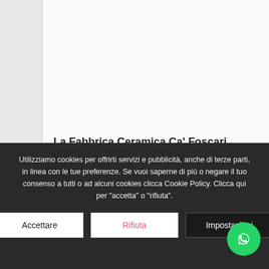[Figure (photo): Product image area for La Fabbrica Ceramica Ca' Foscari 20x120 Avana tile, light grey background with left sidebar]
La Fabbrica Ceramica Ca' Foscari 20×120 Avana
Utilizziamo cookies per offrirti servizi e pubblicità, anche di terze parti, in linea con le tue preferenze. Se vuoi saperne di più o negare il tuo consenso a tutti o ad alcuni cookies clicca Cookie Policy. Clicca qui per "accetta" o "rifiuta".